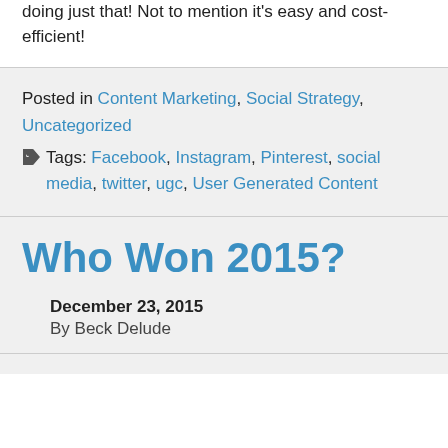doing just that! Not to mention it's easy and cost-efficient!
Posted in Content Marketing, Social Strategy, Uncategorized
Tags: Facebook, Instagram, Pinterest, social media, twitter, ugc, User Generated Content
Who Won 2015?
December 23, 2015
By Beck Delude